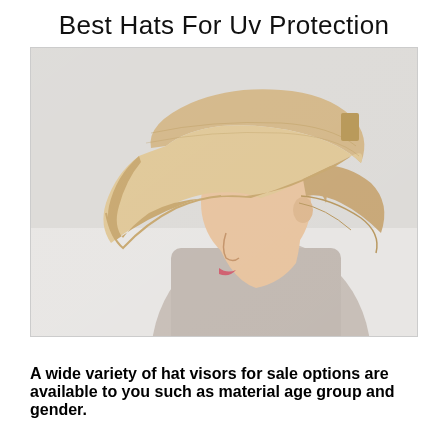Best Hats For Uv Protection
[Figure (photo): A woman seen in profile wearing a large wide-brim beige/cream UV protection sun visor hat, shown against a light gray background. She is wearing a light gray tank top.]
A wide variety of hat visors for sale options are available to you such as material age group and gender.